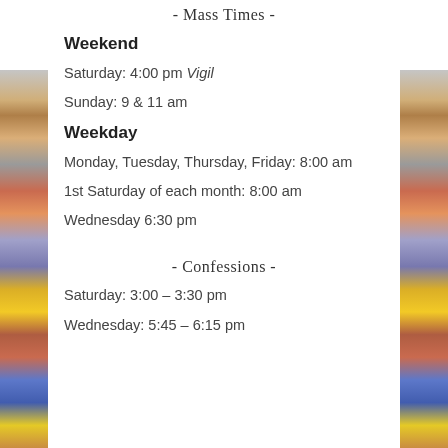- Mass Times -
Weekend
Saturday: 4:00 pm Vigil
Sunday: 9 & 11 am
Weekday
Monday, Tuesday, Thursday, Friday: 8:00 am
1st Saturday of each month: 8:00 am
Wednesday 6:30 pm
- Confessions -
Saturday: 3:00 – 3:30 pm
Wednesday: 5:45 – 6:15 pm